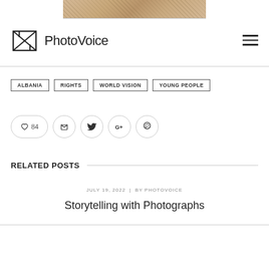[Figure (photo): Cropped banner image with tan/beige textured background showing faint line art, possibly a sketch]
[Figure (logo): PhotoVoice logo with geometric camera-like icon and WordMark 'PhotoVoice']
ALBANIA  RIGHTS  WORLD VISION  YOUNG PEOPLE
84 (likes), social share icons: Facebook, Twitter, Google+, Pinterest
RELATED POSTS
JULY 19, 2022  |  BY PHOTOVOICE
Storytelling with Photographs